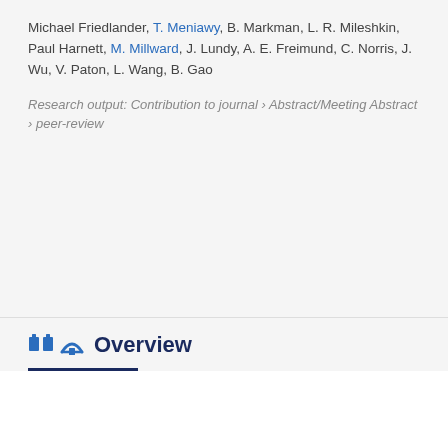Michael Friedlander, T. Meniawy, B. Markman, L. R. Mileshkin, Paul Harnett, M. Millward, J. Lundy, A. E. Freimund, C. Norris, J. Wu, V. Paton, L. Wang, B. Gao
Research output: Contribution to journal › Abstract/Meeting Abstract › peer-review
Overview
Original language
English